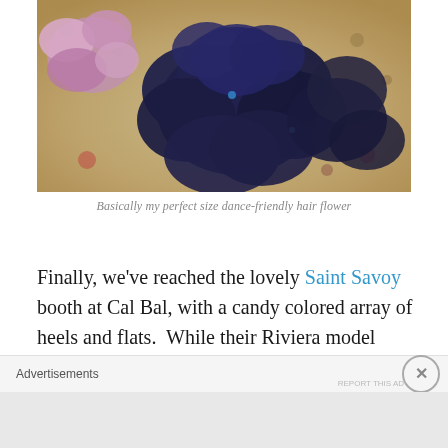[Figure (photo): Close-up photograph of dark navy blue fabric/silk flowers arranged on a floral patterned fabric background. A pink flower is visible in the upper left corner. The dark flowers appear to be hair accessories.]
Basically my perfect size dance-friendly hair flower
Finally, we've reached the lovely Saint Savoy booth at Cal Bal, with a candy colored array of heels and flats.  While their Riviera model remains the most popular and is available in a wide array of colors, I heard lots of talk about their oxfords for women being particularly
Advertisements